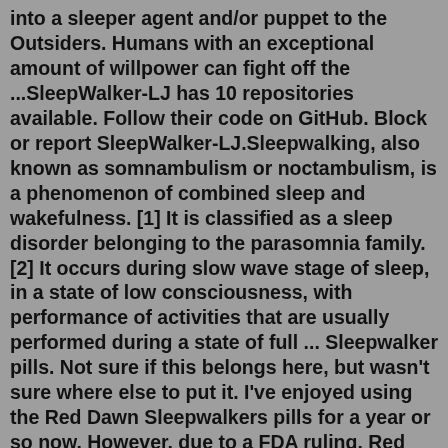into a sleeper agent and/or puppet to the Outsiders. Humans with an exceptional amount of willpower can fight off the ...SleepWalker-LJ has 10 repositories available. Follow their code on GitHub. Block or report SleepWalker-LJ.Sleepwalking, also known as somnambulism or noctambulism, is a phenomenon of combined sleep and wakefulness. [1] It is classified as a sleep disorder belonging to the parasomnia family. [2] It occurs during slow wave stage of sleep, in a state of low consciousness, with performance of activities that are usually performed during a state of full ... Sleepwalker pills. Not sure if this belongs here, but wasn't sure where else to put it. I've enjoyed using the Red Dawn Sleepwalkers pills for a year or so now. However, due to a FDA ruling, Red Dawn has taken phenibut out of Sleepwalkers. After hours researching alternatives and digging through forums, I decided to just start making my own.On The Sleepwalker, his debut EP, Noah Deemer's deconstructionist pop inhabits and distends the conventions and